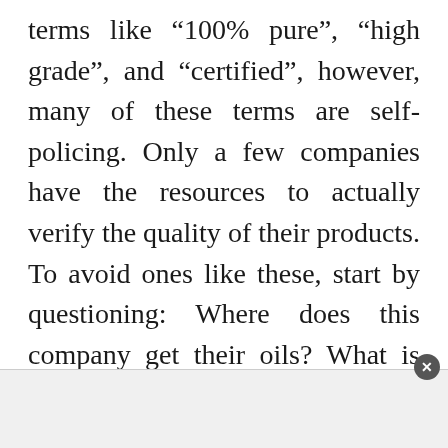terms like “100% pure”, “high grade”, and “certified”, however, many of these terms are self-policing. Only a few companies have the resources to actually verify the quality of their products. To avoid ones like these, start by questioning: Where does this company get their oils? What is their quality control process? How much detail is the company willing to disclose? Does the company do third party testing? You want a brand that